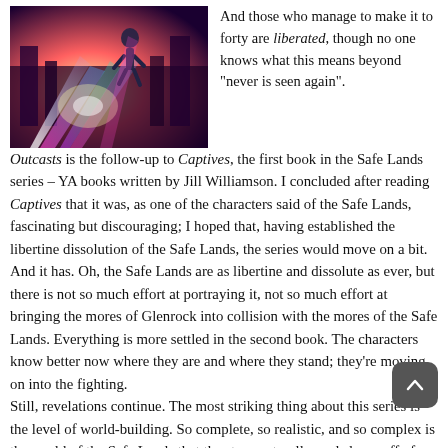[Figure (illustration): Book cover image showing a sci-fi scene with colorful light beams and a figure in a futuristic setting]
And those who manage to make it to forty are liberated, though no one knows what this means beyond “never is seen again”.
Outcasts is the follow-up to Captives, the first book in the Safe Lands series – YA books written by Jill Williamson. I concluded after reading Captives that it was, as one of the characters said of the Safe Lands, fascinating but discouraging; I hoped that, having established the libertine dissolution of the Safe Lands, the series would move on a bit.
And it has. Oh, the Safe Lands are as libertine and dissolute as ever, but there is not so much effort at portraying it, not so much effort at bringing the mores of Glenrock into collision with the mores of the Safe Lands. Everything is more settled in the second book. The characters know better now where they are and where they stand; they’re moving on into the fighting.
Still, revelations continue. The most striking thing about this series is the level of world-building. So complete, so realistic, and so complex is the world of the Safe Lands that the story naturally peels layer off of